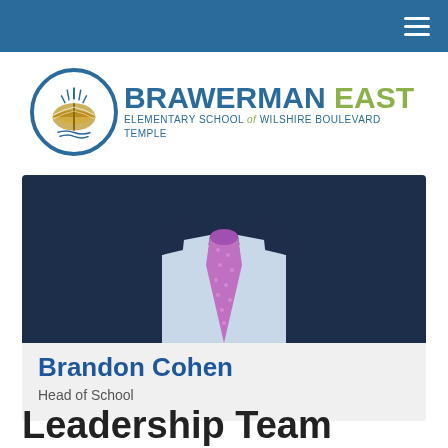Brawerman East Elementary School of Wilshire Boulevard Temple
[Figure (logo): Brawerman East Elementary School of Wilshire Boulevard Temple logo with circular emblem containing a book graphic]
[Figure (photo): Torso photo of a man in a dark navy suit with a pink/purple patterned tie and light blue dress shirt]
Brandon Cohen
Head of School
Leadership Team